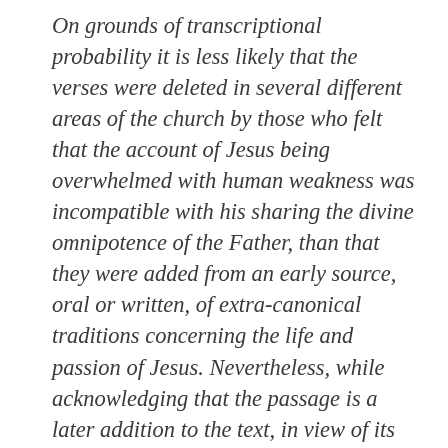On grounds of transcriptional probability it is less likely that the verses were deleted in several different areas of the church by those who felt that the account of Jesus being overwhelmed with human weakness was incompatible with his sharing the divine omnipotence of the Father, than that they were added from an early source, oral or written, of extra-canonical traditions concerning the life and passion of Jesus. Nevertheless, while acknowledging that the passage is a later addition to the text, in view of its evident antiquity and its importance in the textual tradition, a majority of the Committee decided to retain the words in the